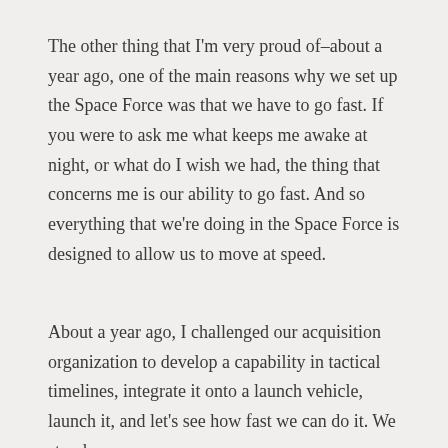The other thing that I'm very proud of–about a year ago, one of the main reasons why we set up the Space Force was that we have to go fast. If you were to ask me what keeps me awake at night, or what do I wish we had, the thing that concerns me is our ability to go fast. And so everything that we're doing in the Space Force is designed to allow us to move at speed.
About a year ago, I challenged our acquisition organization to develop a capability in tactical timelines, integrate it onto a launch vehicle, launch it, and let's see how fast we can do it. We stood up an